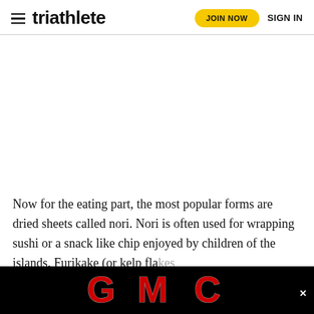triathlete — JOIN NOW  SIGN IN
[Figure (other): Large blank white advertisement space placeholder]
Now for the eating part, the most popular forms are dried sheets called nori. Nori is often used for wrapping sushi or a snack like chip enjoyed by children of the islands. Furikake (or kelp fla... on
[Figure (logo): GMC logo advertisement banner on black background]